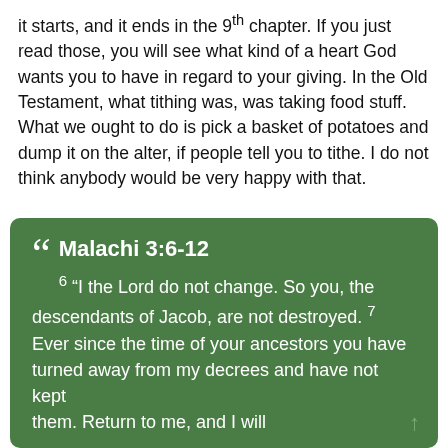it starts, and it ends in the 9th chapter. If you just read those, you will see what kind of a heart God wants you to have in regard to your giving. In the Old Testament, what tithing was, was taking food stuff. What we ought to do is pick a basket of potatoes and dump it on the alter, if people tell you to tithe. I do not think anybody would be very happy with that.
Malachi 3:6-12 6 "I the Lord do not change. So you, the descendants of Jacob, are not destroyed. 7 Ever since the time of your ancestors you have turned away from my decrees and have not kept them. Return to me, and I will